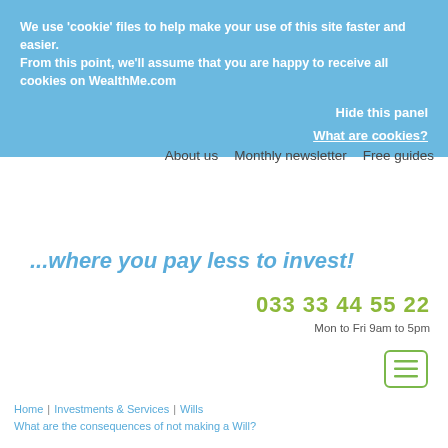We use 'cookie' files to help make your use of this site faster and easier.
From this point, we'll assume that you are happy to receive all cookies on WealthMe.com
Hide this panel
What are cookies?
About us | Monthly newsletter | Free guides
...where you pay less to invest!
033 33 44 55 22
Mon to Fri 9am to 5pm
Home | Investments & Services | Wills | What are the consequences of not making a Will?